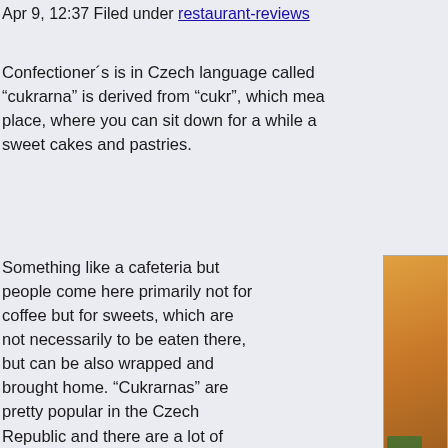Apr 9, 12:37 Filed under restaurant-reviews
Confectioner´s is in Czech language called “cukrarna” is derived from “cukr”, which means sugar. It is a place, where you can sit down for a while and enjoy sweet cakes and pastries.
Something like a cafeteria but people come here primarily not for coffee but for sweets, which are not necessarily to be eaten there, but can be also wrapped and brought home. “Cukrarnas” are pretty popular in the Czech Republic and there are a lot of them. In the April issue of the magazine Apetit, dedicated to eating and cooking, were published the results of a survey they tried to find the best “cukrarna” in the Czech Republic.
[Figure (photo): Interior photo of Alchymista cafe/confectionery showing warm lighting, arched ceiling, and plants]
And they decided, that according to them, the best of Czech ones is in Prague. It is called Alchymista and it is on Zajice Street, number 7, in Prauge district Letna, near the stadium, which is on the tram stop Sparta (many lines) and also in walk distance from metro station Hradcanska. The Alchymista won the contest because of...